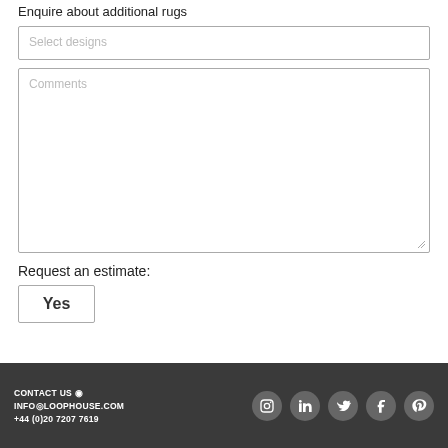Enquire about additional rugs
Select designs
Comments
Request an estimate:
Yes
CONTACT US  INFO@LOOPHOUSE.COM  +44 (0)20 7207 7619